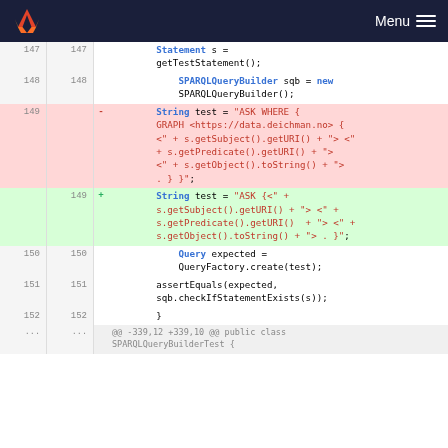GitLab — Menu
[Figure (screenshot): Code diff view showing changes to a Java test method. Lines 147-152 and a hunk header are shown. Line 149 is removed (red background) showing a SPARQL query string with GRAPH clause. Line 149 added (green background) shows a simplified ASK query string without the GRAPH clause.]